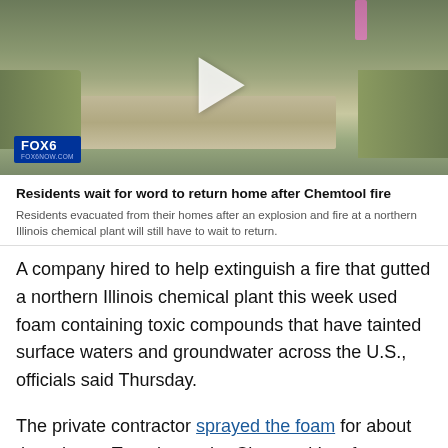[Figure (photo): Video thumbnail showing a gravel path through a grassy area with a play button overlay and FOX6 / FOXNOW.COM badge in the bottom left corner.]
Residents wait for word to return home after Chemtool fire
Residents evacuated from their homes after an explosion and fire at a northern Illinois chemical plant will still have to wait to return.
A company hired to help extinguish a fire that gutted a northern Illinois chemical plant this week used foam containing toxic compounds that have tainted surface waters and groundwater across the U.S., officials said Thursday.
The private contractor sprayed the foam for about three hours Tuesday at the Chemtool Inc. factory